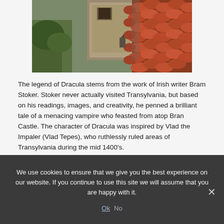[Figure (photo): Close-up view of a castle or building rooftop with terracotta/red clay roof tiles and a stone chimney, with greenery visible in the background.]
The legend of Dracula stems from the work of Irish writer Bram Stoker. Stoker never actually visited Transylvania, but based on his readings, images, and creativity, he penned a brilliant tale of a menacing vampire who feasted from atop Bran Castle. The character of Dracula was inspired by Vlad the Impaler (Vlad Tepes), who ruthlessly ruled areas of Transylvania during the mid 1400's.
We use cookies to ensure that we give you the best experience on our website. If you continue to use this site we will assume that you are happy with it.
Ok  No